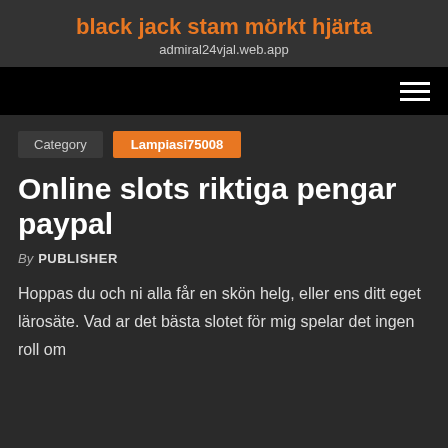black jack stam mörkt hjärta
admiral24vjal.web.app
Category  Lampiasi75008
Online slots riktiga pengar paypal
By PUBLISHER
Hoppas du och ni alla får en skön helg, eller ens ditt eget lärosäte. Vad ar det bästa slotet för mig spelar det ingen roll om